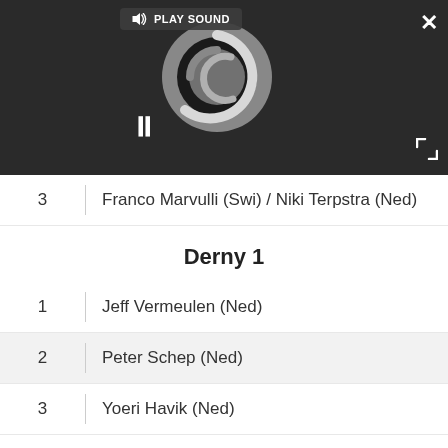[Figure (screenshot): Dark video player overlay with loading spinner, pause button, play sound button, close (X) button, and expand button]
3   Franco Marvulli (Swi) / Niki Terpstra (Ned)
Derny 1
1   Jeff Vermeulen (Ned)
2   Peter Schep (Ned)
3   Yoeri Havik (Ned)
Team Time Trial